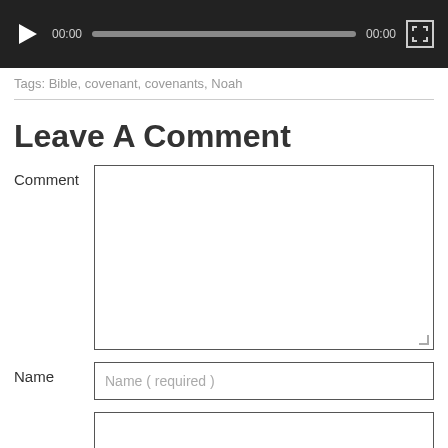[Figure (screenshot): Media player UI with dark background showing play button, 00:00 timestamp, progress bar, 00:00 end time, and fullscreen button]
Tags: Bible, covenant, covenants, Noah
Leave A Comment
Comment
Name
Name ( required )